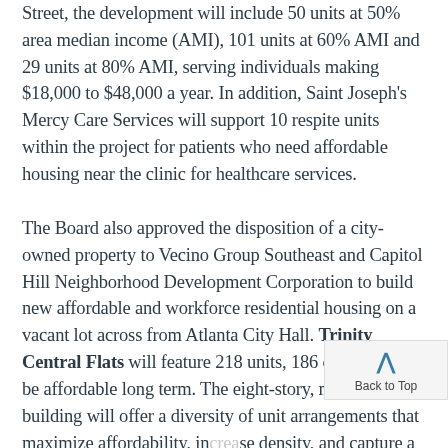Street, the development will include 50 units at 50% area median income (AMI), 101 units at 60% AMI and 29 units at 80% AMI, serving individuals making $18,000 to $48,000 a year. In addition, Saint Joseph's Mercy Care Services will support 10 respite units within the project for patients who need affordable housing near the clinic for healthcare services.
The Board also approved the disposition of a city-owned property to Vecino Group Southeast and Capitol Hill Neighborhood Development Corporation to build new affordable and workforce residential housing on a vacant lot across from Atlanta City Hall. Trinity Central Flats will feature 218 units, 186 of which will be affordable long term. The eight-story, mixed-use building will offer a diversity of unit arrangements that maximize affordability, increase density, and capture a wide range of income levels and household types. In addition, ground floor space will provide lifestyle amenities and essential